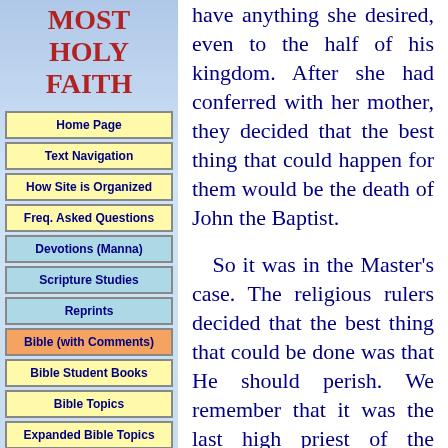MOST HOLY FAITH
Home Page
Text Navigation
How Site is Organized
Freq. Asked Questions
Devotions (Manna)
Scripture Studies
Reprints
Bible (with Comments)
Bible Student Books
Bible Topics
Expanded Bible Topics
Bible Student Webs
Miscellaneous
have anything she desired, even to the half of his kingdom. After she had conferred with her mother, they decided that the best thing that could happen for them would be the death of John the Baptist.

So it was in the Master's case. The religious rulers decided that the best thing that could be done was that He should perish. We remember that it was the last high priest of the Jewish nation, Caiaphas, who prophesied respecting Jesus that it was expedient that one man should die for the people rather than that the